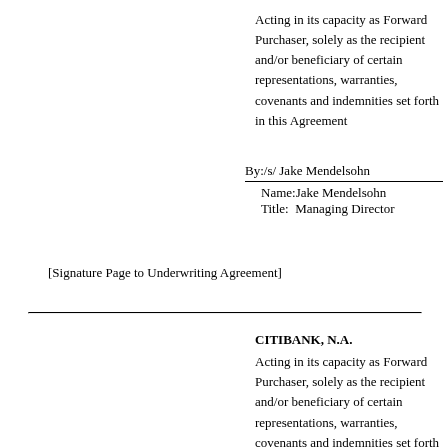Acting in its capacity as Forward Purchaser, solely as the recipient and/or beneficiary of certain representations, warranties, covenants and indemnities set forth in this Agreement
By:/s/ Jake Mendelsohn
Name:Jake Mendelsohn
Title:  Managing Director
[Signature Page to Underwriting Agreement]
CITIBANK, N.A.
Acting in its capacity as Forward Purchaser, solely as the recipient and/or beneficiary of certain representations, warranties, covenants and indemnities set forth in this